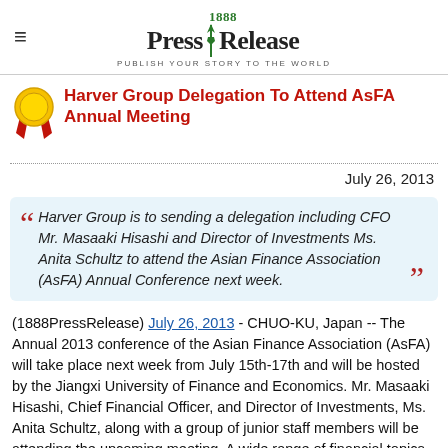1888 PressRelease — PUBLISH YOUR STORY TO THE WORLD
Harver Group Delegation To Attend AsFA Annual Meeting
July 26, 2013
Harver Group is to sending a delegation including CFO Mr. Masaaki Hisashi and Director of Investments Ms. Anita Schultz to attend the Asian Finance Association (AsFA) Annual Conference next week.
(1888PressRelease) July 26, 2013 - CHUO-KU, Japan -- The Annual 2013 conference of the Asian Finance Association (AsFA) will take place next week from July 15th-17th and will be hosted by the Jiangxi University of Finance and Economics. Mr. Masaaki Hisashi, Chief Financial Officer, and Director of Investments, Ms. Anita Schultz, along with a group of junior staff members will be attending the upcoming meeting. A wide range of financial topics will be discussed but the conference will be focusing